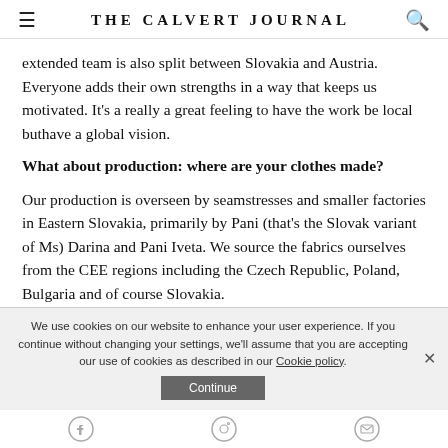THE CALVERT JOURNAL
extended team is also split between Slovakia and Austria. Everyone adds their own strengths in a way that keeps us motivated. It’s a really a great feeling to have the work be local buthave a global vision.
What about production: where are your clothes made?
Our production is overseen by seamstresses and smaller factories in Eastern Slovakia, primarily by Pani (that’s the Slovak variant of Ms) Darina and Pani Iveta. We source the fabrics ourselves from the CEE regions including the Czech Republic, Poland, Bulgaria and of course Slovakia.
We use cookies on our website to enhance your user experience. If you continue without changing your settings, we’ll assume that you are accepting our use of cookies as described in our Cookie policy.